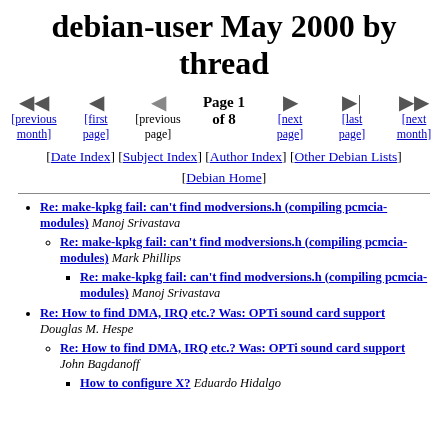debian-user May 2000 by thread
[previous month] [first page] [previous page] Page 1 of 8 [next page] [last page] [next month]
[Date Index] [Subject Index] [Author Index] [Other Debian Lists] [Debian Home]
Re: make-kpkg fail: can't find modversions.h (compiling pcmcia-modules) Manoj Srivastava
Re: make-kpkg fail: can't find modversions.h (compiling pcmcia-modules) Mark Phillips
Re: make-kpkg fail: can't find modversions.h (compiling pcmcia-modules) Manoj Srivastava
Re: How to find DMA, IRQ etc.? Was: OPTi sound card support Douglas M. Hespe
Re: How to find DMA, IRQ etc.? Was: OPTi sound card support John Bagdanoff
How to configure X? Eduardo Hidalgo